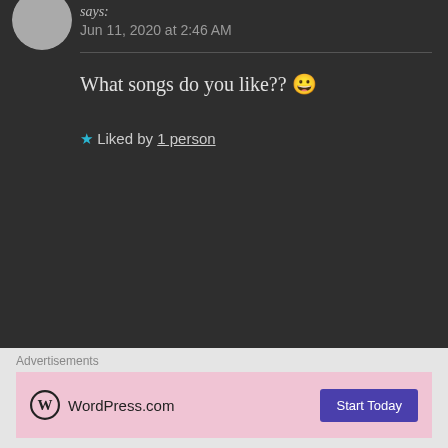says:
Jun 11, 2020 at 2:46 AM
What songs do you like?? 😀
★ Liked by 1 person
THE BOLD GIRL says:
Jun 11, 2020 at 2:48 AM
I listen to anything, honestly.😅 🤣
★ Liked by 1 person
Advertisements
[Figure (screenshot): WordPress.com advertisement banner with pink background, WordPress logo and 'Start Today' button]